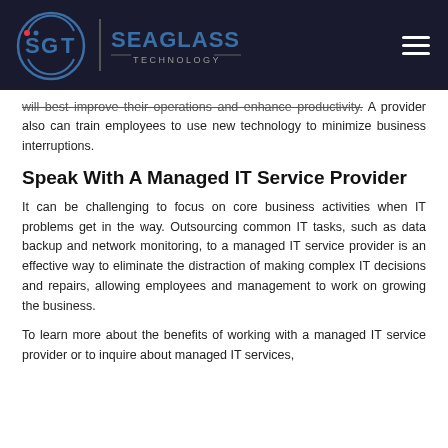SGT Seaglass Technology [logo and navigation bar]
will best improve their operations and enhance productivity. A provider also can train employees to use new technology to minimize business interruptions.
Speak With A Managed IT Service Provider
It can be challenging to focus on core business activities when IT problems get in the way. Outsourcing common IT tasks, such as data backup and network monitoring, to a managed IT service provider is an effective way to eliminate the distraction of making complex IT decisions and repairs, allowing employees and management to work on growing the business.
To learn more about the benefits of working with a managed IT service provider or to inquire about managed IT services,